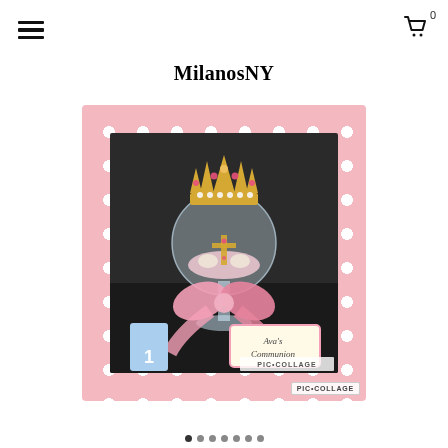MilanosNY
MilanosNY
[Figure (photo): A decorative First Communion centerpiece featuring a gold crown on top of a clear glass globe filled with pink decorations and a cross inside, with a large pink ribbon bow at the base, and a tag reading 'Ava's Communion'. The image is displayed within a pink polka-dot frame collage with a PIC•COLLAGE watermark.]